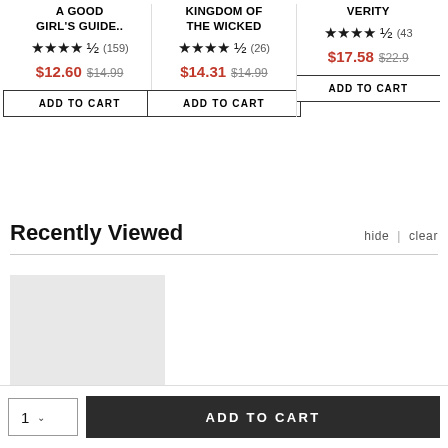A GOOD GIRL'S GUIDE..
★★★★½ (159)
$12.60 $14.99
ADD TO CART
KINGDOM OF THE WICKED
★★★★½ (26)
$14.31 $14.99
ADD TO CART
VERITY
★★★★½ (43...)
$17.58 $22.9...
ADD TO CART
Recently Viewed
hide | clear
[Figure (other): Gray placeholder image for a recently viewed book]
1
ADD TO CART